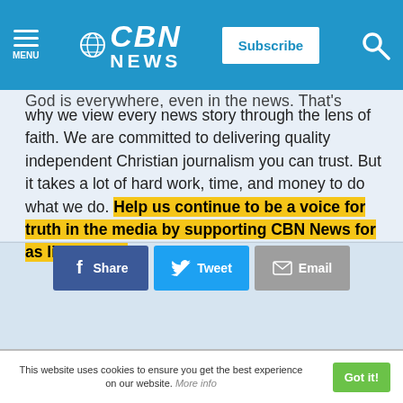CBN NEWS | Subscribe
why we view every news story through the lens of faith. We are committed to delivering quality independent Christian journalism you can trust. But it takes a lot of hard work, time, and money to do what we do. Help us continue to be a voice for truth in the media by supporting CBN News for as little as $1.
[Figure (screenshot): Support CBN News button with orange rounded rectangle and arrow, alongside Visa, MasterCard, green card, and Discover payment icons]
[Figure (screenshot): Social sharing buttons: Share (Facebook blue), Tweet (Twitter blue), Email (grey)]
This website uses cookies to ensure you get the best experience on our website. More info
[Figure (screenshot): Got it! green button for cookie consent]